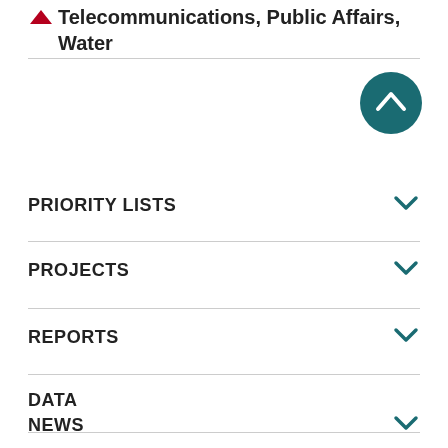Telecommunications, Public Affairs, Water
PRIORITY LISTS
PROJECTS
REPORTS
DATA
NEWS